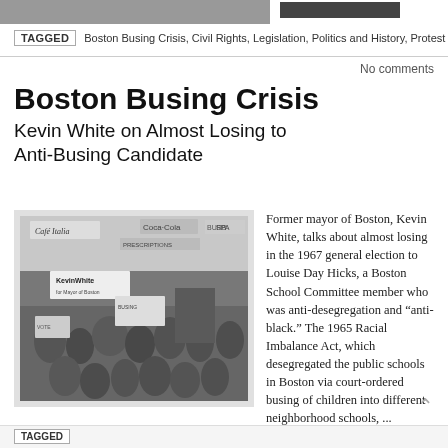[Figure (photo): Top strip showing partial photo of people/event, black and white]
TAGGED  Boston Busing Crisis, Civil Rights, Legislation, Politics and History, Protest
No comments
Boston Busing Crisis
Kevin White on Almost Losing to Anti-Busing Candidate
[Figure (photo): Black and white historical photograph of a political rally or campaign event for Kevin White for Mayor of Boston, with crowds of people holding signs including 'KevinWhite for Mayor of Boston', street scene with Coca-Cola and Cafe Italia signs visible]
Former mayor of Boston, Kevin White, talks about almost losing in the 1967 general election to Louise Day Hicks, a Boston School Committee member who was anti-desegregation and "anti-black." The 1965 Racial Imbalance Act, which desegregated the public schools in Boston via court-ordered busing of children into different neighborhood schools, ...
CONTINUE READING